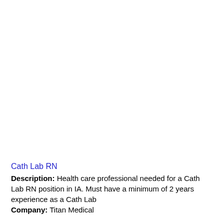Cath Lab RN
Description: Health care professional needed for a Cath Lab RN position in IA. Must have a minimum of 2 years experience as a Cath Lab
Company: Titan Medical